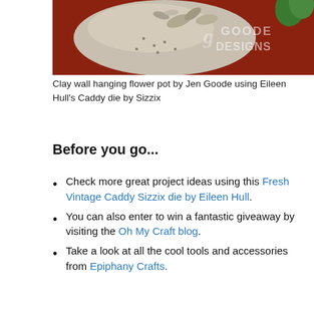[Figure (photo): Clay wall hanging flower pot by Jen Goode with Goode Designs watermark, on dark red background]
Clay wall hanging flower pot by Jen Goode using Eileen Hull's Caddy die by Sizzix
Before you go...
Check more great project ideas using this Fresh Vintage Caddy Sizzix die by Eileen Hull.
You can also enter to win a fantastic giveaway by visiting the Oh My Craft blog.
Take a look at all the cool tools and accessories from Epiphany Crafts.